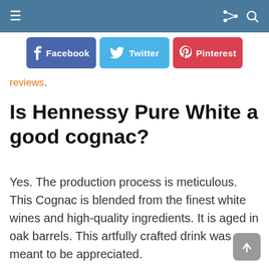Navigation bar with hamburger menu, share icon, and search icon
[Figure (screenshot): Social sharing buttons: Facebook (blue), Twitter (light blue), Pinterest (red)]
reviews.
Is Hennessy Pure White a good cognac?
Yes. The production process is meticulous. This Cognac is blended from the finest white wines and high-quality ingredients. It is aged in oak barrels. This artfully crafted drink was meant to be appreciated.